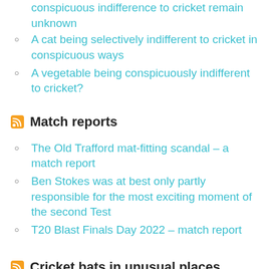conspicuous indifference to cricket remain unknown
A cat being selectively indifferent to cricket in conspicuous ways
A vegetable being conspicuously indifferent to cricket?
Match reports
The Old Trafford mat-fitting scandal – a match report
Ben Stokes was at best only partly responsible for the most exciting moment of the second Test
T20 Blast Finals Day 2022 – match report
Cricket bats in unusual places